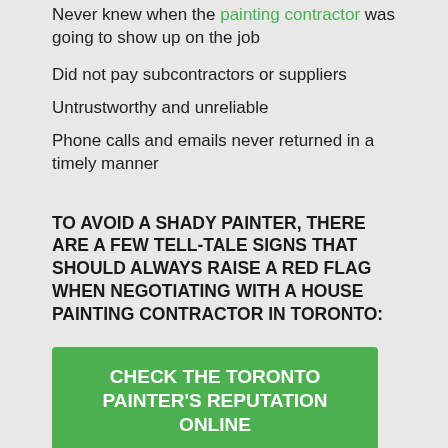Never knew when the painting contractor was going to show up on the job
Did not pay subcontractors or suppliers
Untrustworthy and unreliable
Phone calls and emails never returned in a timely manner
TO AVOID A SHADY PAINTER, THERE ARE A FEW TELL-TALE SIGNS THAT SHOULD ALWAYS RAISE A RED FLAG WHEN NEGOTIATING WITH A HOUSE PAINTING CONTRACTOR IN TORONTO:
CHECK THE TORONTO PAINTER'S REPUTATION ONLINE